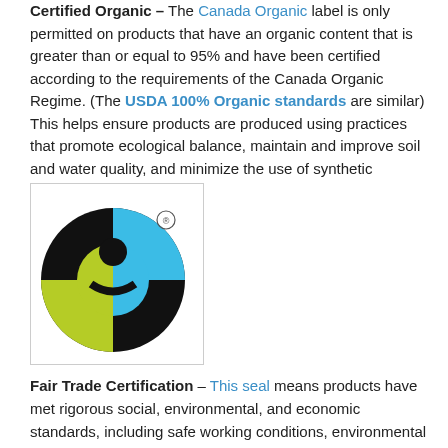Certified Organic – The Canada Organic label is only permitted on products that have an organic content that is greater than or equal to 95% and have been certified according to the requirements of the Canada Organic Regime. (The USDA 100% Organic standards are similar) This helps ensure products are produced using practices that promote ecological balance, maintain and improve soil and water quality, and minimize the use of synthetic materials.
[Figure (logo): Fairtrade certification logo — a circular black background with a stylized figure in blue and yellow-green, with a registered trademark symbol in the upper right.]
Fair Trade Certification – This seal means products have met rigorous social, environmental, and economic standards, including safe working conditions, environmental protection, sustainable livelihoods and community development funds.
Every product has an environmental footprint.
From the raw materials used, to energy, packaging, shipping...